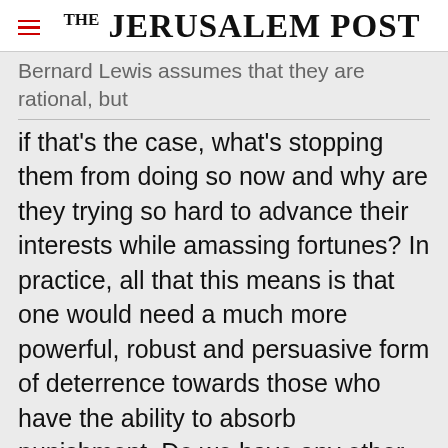THE JERUSALEM POST
Bernard Lewis assumes that they are rational, but if that's the case, what's stopping them from doing so now and why are they trying so hard to advance their interests while amassing fortunes? In practice, all that this means is that one would need a much more powerful, robust and persuasive form of deterrence towards those who have the ability to absorb punishment. Do we have any other choice? If we can preempt, we should, but are we guaranteed of success? If we
Advertisement